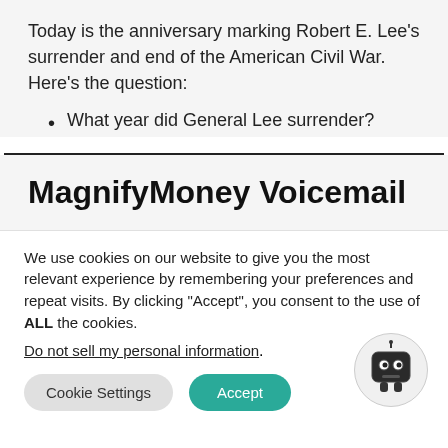Today is the anniversary marking Robert E. Lee's surrender and end of the American Civil War. Here's the question:
What year did General Lee surrender?
MagnifyMoney Voicemail
We use cookies on our website to give you the most relevant experience by remembering your preferences and repeat visits. By clicking "Accept", you consent to the use of ALL the cookies.
Do not sell my personal information.
[Figure (illustration): Small cartoon robot icon inside a circular badge]